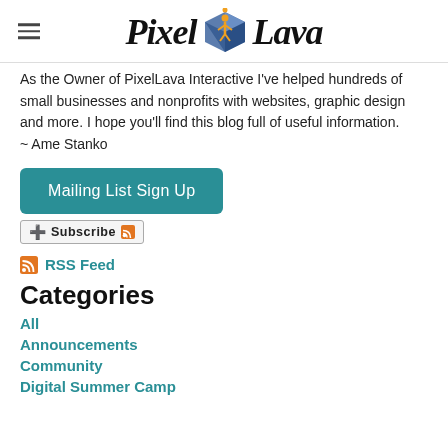Pixel Lava
As the Owner of PixelLava Interactive I've helped hundreds of small businesses and nonprofits with websites, graphic design and more. I hope you'll find this blog full of useful information.
~ Ame Stanko
Mailing List Sign Up
[Figure (other): Subscribe button with RSS icon]
RSS Feed
Categories
All
Announcements
Community
Digital Summer Camp